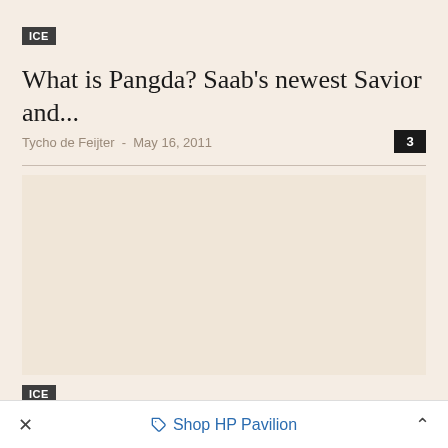ICE
What is Pangda? Saab's newest Savior and...
Tycho de Feijter  -  May 16, 2011
ICE
Spyker turns to China's Pangda for Saab rescue
× Shop HP Pavilion ^